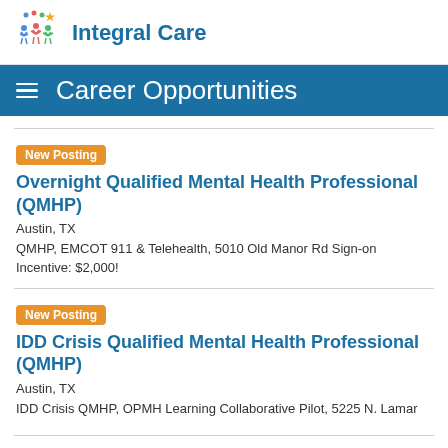[Figure (logo): Integral Care logo with colorful figures and star, blue text]
Career Opportunities
Overnight Qualified Mental Health Professional (QMHP)
Austin, TX
QMHP, EMCOT 911 & Telehealth, 5010 Old Manor Rd Sign-on Incentive: $2,000!
IDD Crisis Qualified Mental Health Professional (QMHP)
Austin, TX
IDD Crisis QMHP, OPMH Learning Collaborative Pilot, 5225 N. Lamar